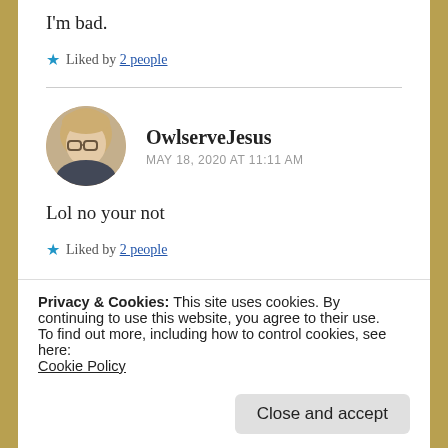I'm bad.
★ Liked by 2 people
[Figure (photo): Circular profile photo of a woman with blonde hair and glasses]
OwlserveJesus
MAY 18, 2020 AT 11:11 AM
Lol no your not
★ Liked by 2 people
Privacy & Cookies: This site uses cookies. By continuing to use this website, you agree to their use.
To find out more, including how to control cookies, see here:
Cookie Policy